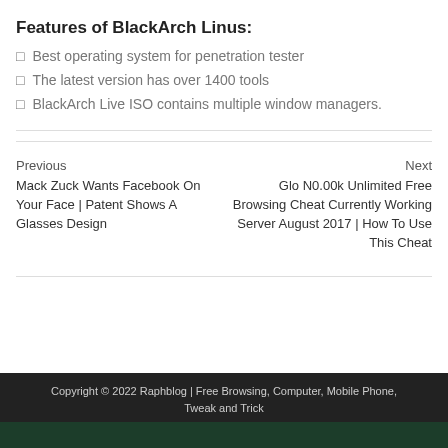Features of BlackArch Linus:
Best operating system for penetration tester
The latest version has over 1400 tools
BlackArch Live ISO contains multiple window managers.
Previous
Mack Zuck Wants Facebook On Your Face | Patent Shows A Glasses Design
Next
Glo N0.00k Unlimited Free Browsing Cheat Currently Working Server August 2017 | How To Use This Cheat
Copyright © 2022 Raphblog | Free Browsing, Computer, Mobile Phone, Tweak and Trick